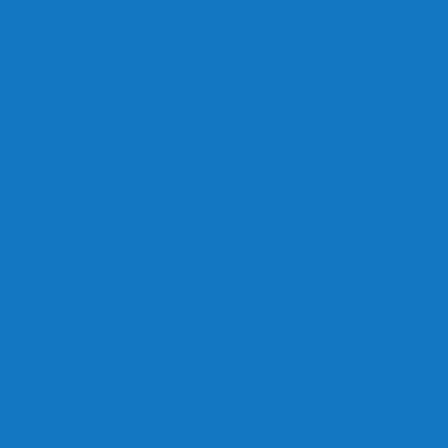[Figure (other): Solid blue background filling the entire page, color approximately #1479C2]